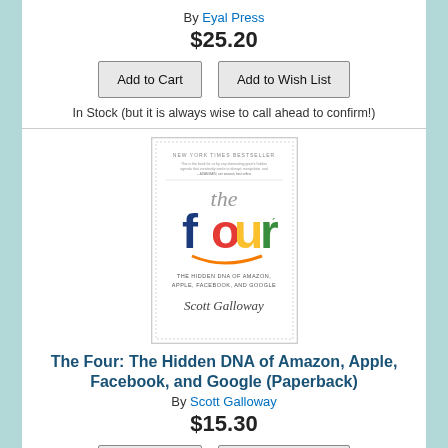By Eyal Press
$25.20
Add to Cart
Add to Wish List
In Stock (but it is always wise to call ahead to confirm!)
[Figure (photo): Book cover of 'The Four: The Hidden DNA of Amazon, Apple, Facebook, and Google' by Scott Galloway. New York Times Bestseller. Shows the word 'the' in gray and 'four' in large blue bold text with colorful letters, subtitle 'THE HIDDEN DNA OF AMAZON, APPLE, FACEBOOK, AND GOOGLE', author name in script font.]
The Four: The Hidden DNA of Amazon, Apple, Facebook, and Google (Paperback)
By Scott Galloway
$15.30
Add to Cart
Add to Wish List